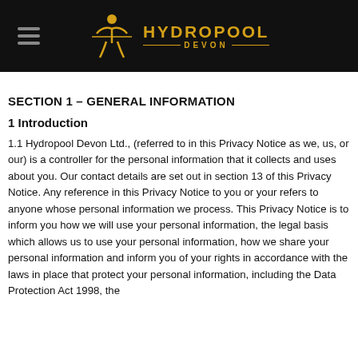HYDROPOOL DEVON
SECTION 1 – GENERAL INFORMATION
1 Introduction
1.1 Hydropool Devon Ltd., (referred to in this Privacy Notice as we, us, or our) is a controller for the personal information that it collects and uses about you. Our contact details are set out in section 13 of this Privacy Notice. Any reference in this Privacy Notice to you or your refers to anyone whose personal information we process. This Privacy Notice is to inform you how we will use your personal information, the legal basis which allows us to use your personal information, how we share your personal information and inform you of your rights in accordance with the laws in place that protect your personal information, including the Data Protection Act 1998, the